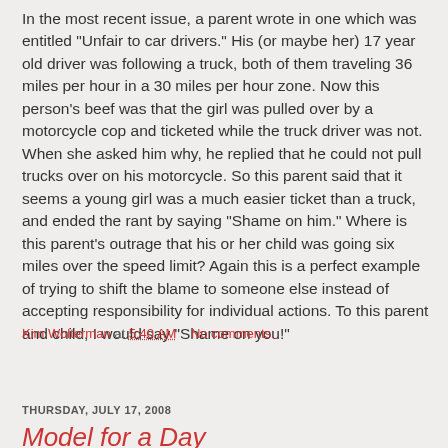In the most recent issue, a parent wrote in one which was entitled "Unfair to car drivers." His (or maybe her) 17 year old driver was following a truck, both of them traveling 36 miles per hour in a 30 miles per hour zone. Now this person's beef was that the girl was pulled over by a motorcycle cop and ticketed while the truck driver was not. When she asked him why, he replied that he could not pull trucks over on his motorcycle. So this parent said that it seems a young girl was a much easier ticket than a truck, and ended the rant by saying "Shame on him." Where is this parent's outrage that his or her child was going six miles over the speed limit? Again this is a perfect example of trying to shift the blame to someone else instead of accepting responsibility for individual actions. To this parent and child, I would say "Shame on you!"
Kim Wolterman at 5:40 AM    No comments:
Share
THURSDAY, JULY 17, 2008
Model for a Day